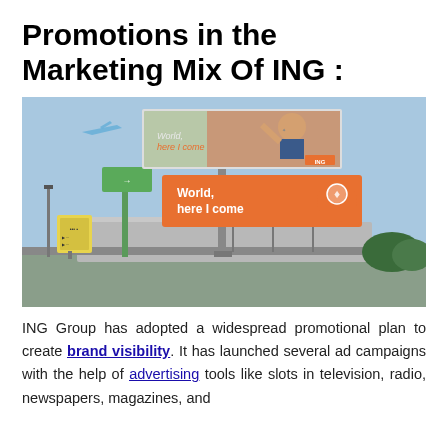Promotions in the Marketing Mix Of ING :
[Figure (photo): ING Group outdoor billboard advertisement at an airport showing 'World, here I come' campaign with a child in face paint on the billboard display and a large orange ING branded billboard below.]
ING Group has adopted a widespread promotional plan to create brand visibility. It has launched several ad campaigns with the help of advertising tools like slots in television, radio, newspapers, magazines, and